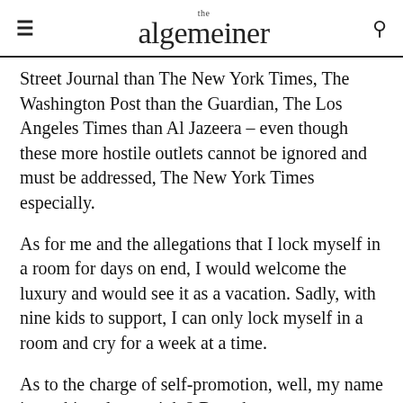the algemeiner
Street Journal than The New York Times, The Washington Post than the Guardian, The Los Angeles Times than Al Jazeera – even though these more hostile outlets cannot be ignored and must be addressed, The New York Times especially.
As for me and the allegations that I lock myself in a room for days on end, I would welcome the luxury and would see it as a vacation. Sadly, with nine kids to support, I can only lock myself in a room and cry for a week at a time.
As to the charge of self-promotion, well, my name is on this column, right? But whatever my imperfections, I have never veered from my